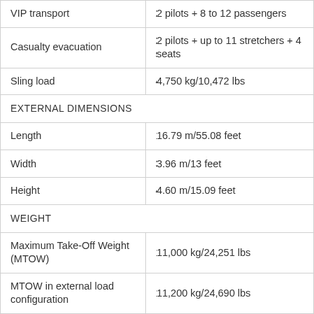|  |  |
| --- | --- |
| VIP transport | 2 pilots + 8 to 12 passengers |
| Casualty evacuation | 2 pilots + up to 11 stretchers + 4 seats |
| Sling load | 4,750 kg/10,472 lbs |
| EXTERNAL DIMENSIONS |  |
| Length | 16.79 m/55.08 feet |
| Width | 3.96 m/13 feet |
| Height | 4.60 m/15.09 feet |
| WEIGHT |  |
| Maximum Take-Off Weight (MTOW) | 11,000 kg/24,251 lbs |
| MTOW in external load configuration | 11,200 kg/24,690 lbs |
| Empty weight | 5,715 kg/12,600 lbs |
| Useful load | 5,285 kg/11,651 lbs |